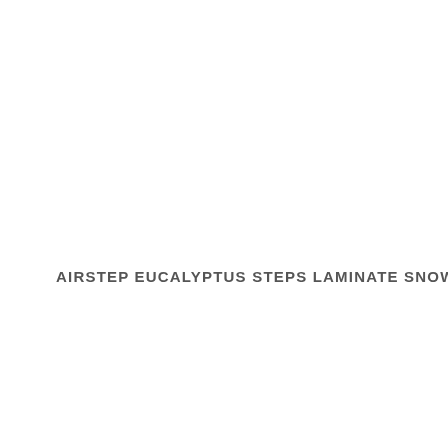AIRSTEP EUCALYPTUS STEPS LAMINATE SNOW GUM